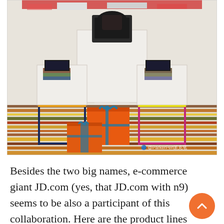[Figure (photo): A retail display area showing Parker Pen products on white pedestals and tables with colorful metal frames (navy blue and pink/magenta). Orange gift boxes with teal/blue bows are stacked on the floor. The floor has multicolored horizontal stripes. Books and product stands are visible on the tables. A watermark reads '@ParkerPen派克笔' in the bottom right corner.]
Besides the two big names, e-commerce giant JD.com (yes, that JD.com with n9) seems to be also a participant of this collaboration. Here are the product lines they finally present to the